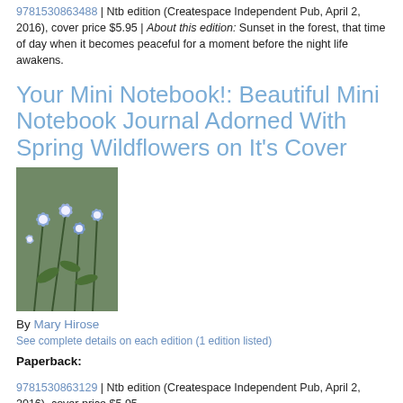9781530863488 | Ntb edition (Createspace Independent Pub, April 2, 2016), cover price $5.95 | About this edition: Sunset in the forest, that time of day when it becomes peaceful for a moment before the night life awakens.
Your Mini Notebook!: Beautiful Mini Notebook Journal Adorned With Spring Wildflowers on It's Cover
[Figure (photo): Book cover photo showing blue/purple spring wildflowers with green stems and leaves]
By Mary Hirose
See complete details on each edition (1 edition listed)
Paperback:
9781530863129 | Ntb edition (Createspace Independent Pub, April 2, 2016), cover price $5.95
Your Mini Notebook!: A Mini Notebook Journal to Take